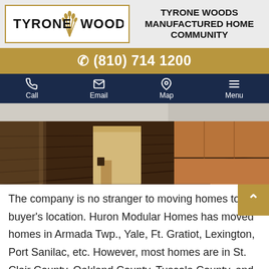[Figure (logo): Tyrone Woods logo with wheat sheaf graphic, text TYRONE WOODS in gold/black]
TYRONE WOODS MANUFACTURED HOME COMMUNITY
(810) 714 1200
[Figure (photo): Interior photo of manufactured home kitchen with dark wood flooring, kitchen island, and wood cabinets]
The company is no stranger to moving homes to the buyer's location. Huron Modular Homes has moved homes in Armada Twp., Yale, Ft. Gratiot, Lexington, Port Sanilac, etc. However, most homes are in St. Clair County, Oakland County, Tuscola County, and Huron Counties.